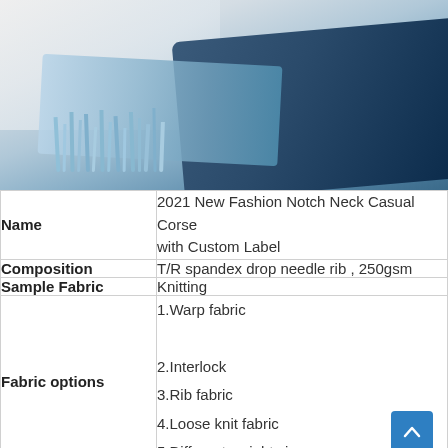[Figure (photo): Photo of folded denim and light blue fringe/knit fabric on a light background]
| Label | Value |
| --- | --- |
| Name | 2021 New Fashion Notch Neck Casual Corset with Custom Label |
| Composition | T/R spandex drop needle rib , 250gsm |
| Sample Fabric | Knitting |
| Fabric options | 1.Warp fabric
2.Interlock
3.Rib fabric
4.Loose knit fabric
5.Different weights jersey |